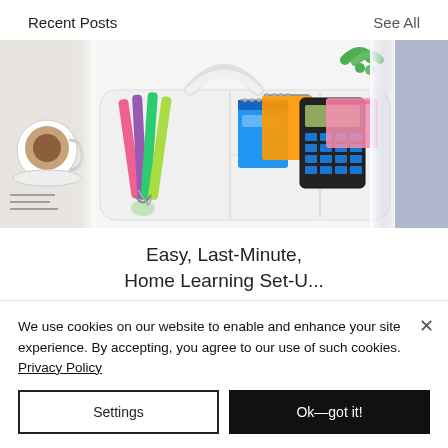Recent Posts
See All
[Figure (photo): A white plastic desk organizer caddy filled with colorful markers, scissors, notebooks, a calculator, and pink sticky notes. Partially visible on the left is another image showing a coffee cup and drawing.]
Easy, Last-Minute, Home Learning Set-U...
We use cookies on our website to enable and enhance your site experience. By accepting, you agree to our use of such cookies. Privacy Policy
Settings
Ok—got it!